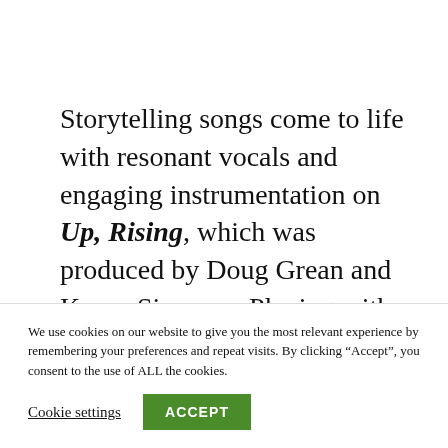Storytelling songs come to life with resonant vocals and engaging instrumentation on Up, Rising, which was produced by Doug Grean and Korey Simeone. Playing with authentic roots rock
We use cookies on our website to give you the most relevant experience by remembering your preferences and repeat visits. By clicking “Accept”, you consent to the use of ALL the cookies.
Cookie settings
ACCEPT